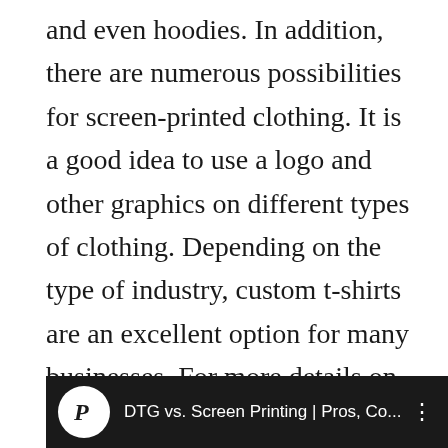and even hoodies. In addition, there are numerous possibilities for screen-printed clothing. It is a good idea to use a logo and other graphics on different types of clothing. Depending on the type of industry, custom t-shirts are an excellent option for many businesses. For more details on screen printing visit a local screen printing company in your area.
[Figure (screenshot): Video thumbnail bar showing 'DTG vs. Screen Printing | Pros, Co...' with a white circular logo icon with a stylized P on dark background]